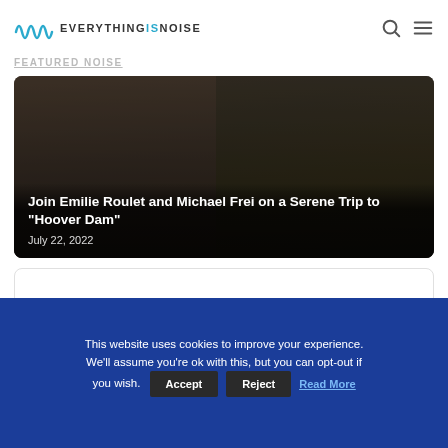Everything Is Noise
Featured Noise
[Figure (photo): Photo of two people (Emilie Roulet and Michael Frei) in a dark setting with musical equipment, overlaid with article title and date]
Join Emilie Roulet and Michael Frei on a Serene Trip to "Hoover Dam"
July 22, 2022
[Figure (photo): Second article card, partially visible]
This website uses cookies to improve your experience. We'll assume you're ok with this, but you can opt-out if you wish.
Accept  Reject  Read More